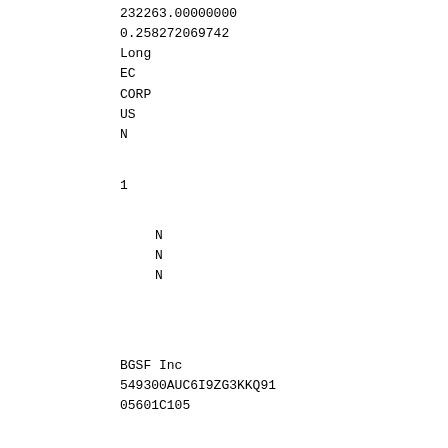232263.00000000
0.258272069742
Long
EC
CORP
US
N
1
N
N
N
BGSF Inc
549300AUC6I9ZG3KKQ91
05601C105
4000.00000000
NS
USD
52680.00000000
0.058579165144
Long